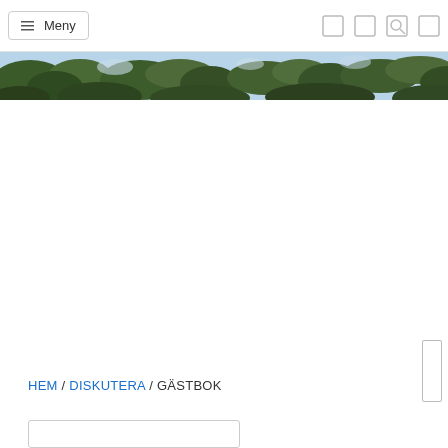☰ Meny
[Figure (photo): Narrow horizontal photo strip showing trees and foliage against a blue sky, spanning the full width of the page]
HEM / DISKUTERA / GÄSTBOK